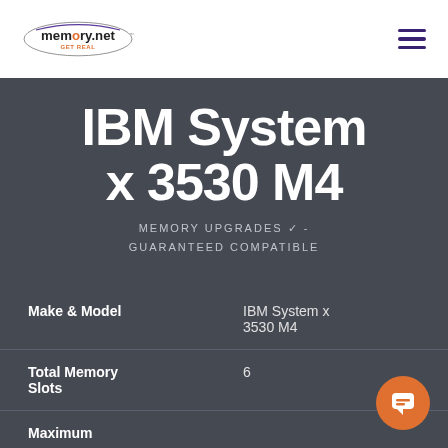memory.net - GET REAL
IBM System x 3530 M4
MEMORY UPGRADES ✓ - GUARANTEED COMPATIBLE
|  |  |
| --- | --- |
| Make & Model | IBM System x 3530 M4 |
| Total Memory Slots | 6 |
| Maximum |  |